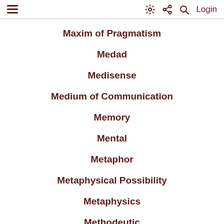≡  ⚙ < Q  Login
Maxim of Pragmatism
Medad
Medisense
Medium of Communication
Memory
Mental
Metaphor
Metaphysical Possibility
Metaphysics
Methodeutic